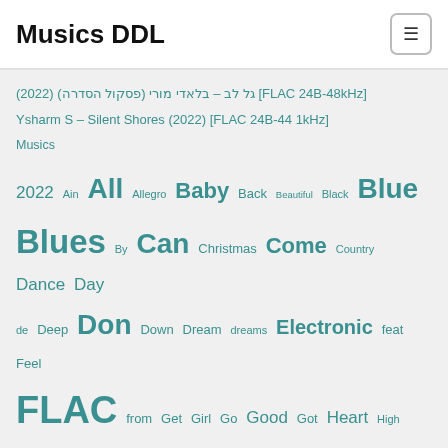Musics DDL
גל לב – בלאדי מורי (פסקול הסדרה) (2022) [FLAC 24B-48kHz]
Ysharm S – Silent Shores (2022) [FLAC 24B-44 1kHz]
Musics
2022 Ain All Allegro Baby Back Beautiful Black Blue Blues By Can Christmas Come Country Dance Day de Deep Don Down Dream dreams Electronic feat Feel FLAC from Get Girl Go Good Got Heart High Home house How If II Is Jazz Just Know La Last Let Life Light Like Little Live ll Long Love Major Make Man Me Mind minor Moon More Morning MP3 MPEG Audio